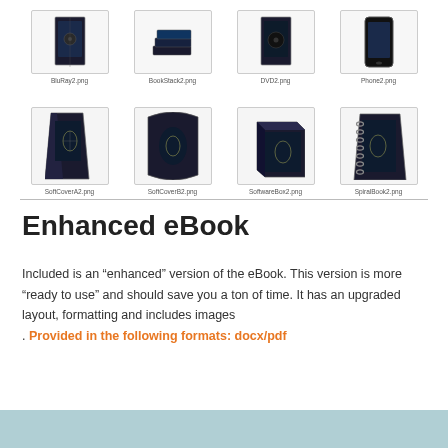[Figure (illustration): Grid of product mockup images row 1: BluRay2.png, BookStack2.png, DVD2.png, Phone2.png]
[Figure (illustration): Grid of product mockup images row 2: SoftCoverA2.png, SoftCoverB2.png, SoftwareBox2.png, SpiralBook2.png]
BluRay2.png
BookStack2.png
DVD2.png
Phone2.png
SoftCoverA2.png
SoftCoverB2.png
SoftwareBox2.png
SpiralBook2.png
Enhanced eBook
Included is an “enhanced” version of the eBook. This version is more “ready to use” and should save you a ton of time. It has an upgraded layout, formatting and includes images. Provided in the following formats: docx/pdf